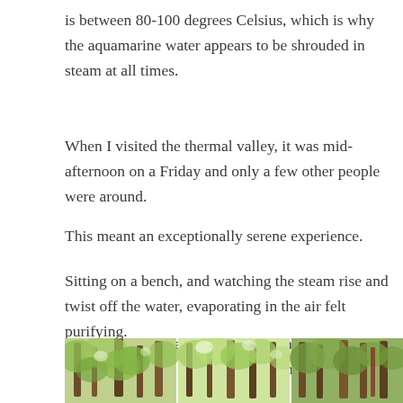is between 80-100 degrees Celsius, which is why the aquamarine water appears to be shrouded in steam at all times.
When I visited the thermal valley, it was mid-afternoon on a Friday and only a few other people were around.
This meant an exceptionally serene experience.
Sitting on a bench, and watching the steam rise and twist off the water, evaporating in the air felt purifying.
There's a small waterfall nearby, which lends the sound of trickling water. Calming in every sense.
[Figure (photo): A strip of three forest/jungle photographs side by side showing green trees, foliage, and vegetation.]